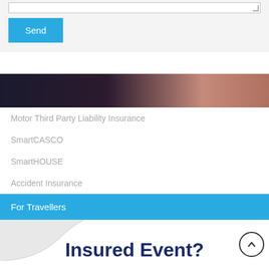[Figure (screenshot): Text area input box with resize handle, partially visible at top]
Send
[Figure (photo): Dark gradient banner image strip with dark purple/brown tones on left fading to pinkish/tan on right]
Motor Third Party Liability Insurance
SmartCASCO
SmartHOUSE
Accident Insurance
For Travellers
Insured Event?